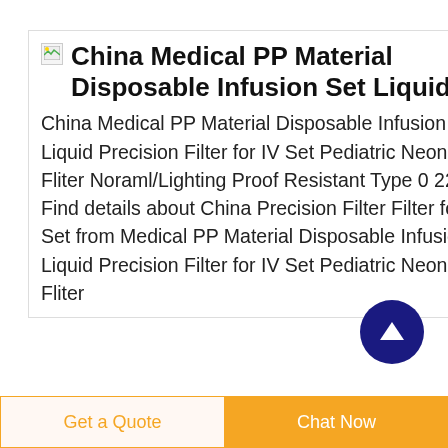China Medical PP Material Disposable Infusion Set Liquid
China Medical PP Material Disposable Infusion Set Liquid Precision Filter for IV Set Pediatric Neonatal IV Fliter Noraml/Lighting Proof Resistant Type 0 22 5um Find details about China Precision Filter Filter for IV Set from Medical PP Material Disposable Infusion Set Liquid Precision Filter for IV Set Pediatric Neonatal IV Fliter